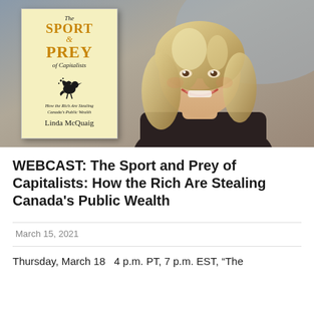[Figure (photo): Photo of Linda McQuaig smiling with blonde hair against a blurred outdoor background, with the book cover 'The Sport & Prey of Capitalists: How the Rich Are Stealing Canada's Public Wealth' by Linda McQuaig overlaid on the left side.]
WEBCAST: The Sport and Prey of Capitalists: How the Rich Are Stealing Canada's Public Wealth
March 15, 2021
Thursday, March 18   4 p.m. PT, 7 p.m. EST, “The